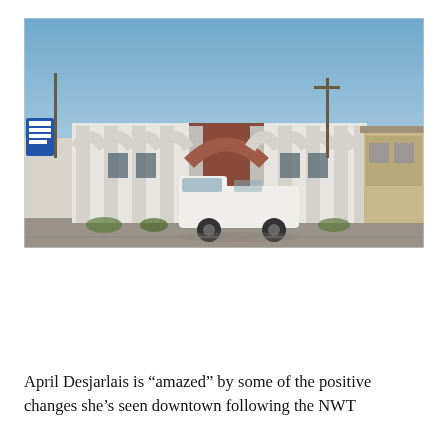[Figure (photo): Exterior photograph of a white building with arched facade details and brick entrance, with a white van parked in front on a street. Blue sky background. Adjacent buildings visible on left and right. Taken in a downtown area.]
April Desjarlais is “amazed” by some of the positive changes she’s seen downtown following the NWT